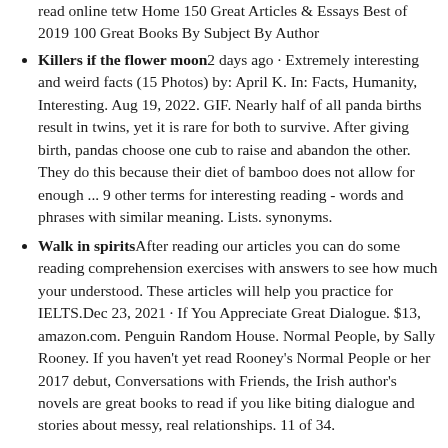read online tetw Home 150 Great Articles & Essays Best of 2019 100 Great Books By Subject By Author
Killers if the flower moon2 days ago · Extremely interesting and weird facts (15 Photos) by: April K. In: Facts, Humanity, Interesting. Aug 19, 2022. GIF. Nearly half of all panda births result in twins, yet it is rare for both to survive. After giving birth, pandas choose one cub to raise and abandon the other. They do this because their diet of bamboo does not allow for enough ... 9 other terms for interesting reading - words and phrases with similar meaning. Lists. synonyms.
Walk in spiritsAfter reading our articles you can do some reading comprehension exercises with answers to see how much your understood. These articles will help you practice for IELTS.Dec 23, 2021 · If You Appreciate Great Dialogue. $13, amazon.com. Penguin Random House. Normal People, by Sally Rooney. If you haven't yet read Rooney's Normal People or her 2017 debut, Conversations with Friends, the Irish author's novels are great books to read if you like biting dialogue and stories about messy, real relationships. 11 of 34.
I cosmoLooking for some interesting articles to read? Enjoy some of the best free long and short articles of all time on health, wealth, relationships and self.At 4:50 AM on the morning of August 19, 1942, two teams of Allied